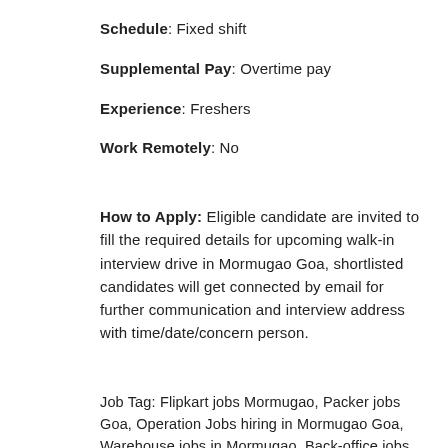Schedule: Fixed shift
Supplemental Pay: Overtime pay
Experience: Freshers
Work Remotely: No
How to Apply: Eligible candidate are invited to fill the required details for upcoming walk-in interview drive in Mormugao Goa, shortlisted candidates will get connected by email for further communication and interview address with time/date/concern person.
Job Tag: Flipkart jobs Mormugao, Packer jobs Goa, Operation Jobs hiring in Mormugao Goa, Warehouse jobs in Mormugao, Back-office jobs in Mormugao Goa, Flipkart Careers nearby Mormugao, 12th pass Job in Mormugao Goa,